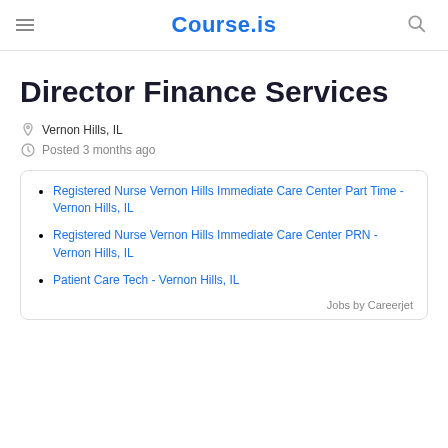Course.is
Director Finance Services
Vernon Hills, IL
Posted 3 months ago
Registered Nurse Vernon Hills Immediate Care Center Part Time - Vernon Hills, IL
Registered Nurse Vernon Hills Immediate Care Center PRN - Vernon Hills, IL
Patient Care Tech - Vernon Hills, IL
Jobs by Careerjet